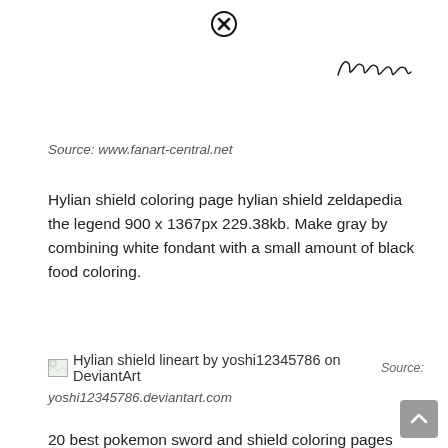[Figure (other): Close button (circled X) icon at top center]
[Figure (other): Handwritten cursive signature in upper right]
Source: www.fanart-central.net
Hylian shield coloring page hylian shield zeldapedia the legend 900 x 1367px 229.38kb. Make gray by combining white fondant with a small amount of black food coloring.
[Figure (other): Broken image placeholder followed by text: Hylian shield lineart by yoshi12345786 on DeviantArt  Source:]
yoshi12345786.deviantart.com
20 best pokemon sword and shield coloring pages images coloring. Godzilla2000 (guest) a really bad cherno alpha pack when is it gonna release ?
[Figure (illustration): Partial illustration of a narrow pointed shield shape (lineart) at bottom]
[Figure (other): Close button (circled X) icon at bottom center]
[Figure (other): Gray scroll-to-top button with upward arrow at bottom right]